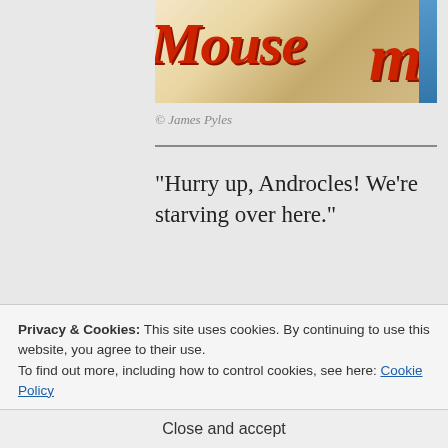[Figure (photo): Partial image showing red stylized text 'Mouse m' on a wooden/sandy textured background with a blue bar on the right edge]
© James Pyles
“Hurry up, Androcles! We’re starving over here.”
“I’m coming, I’m coming. I’ve been
Privacy & Cookies: This site uses cookies. By continuing to use this website, you agree to their use.
To find out more, including how to control cookies, see here: Cookie Policy
Close and accept